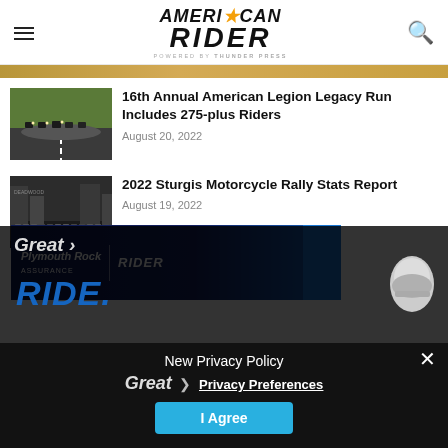American Rider — powered by Thunder Press
[Figure (photo): Thumbnail image strip at top of page]
16th Annual American Legion Legacy Run Includes 275-plus Riders
August 20, 2022
[Figure (photo): Motorcyclists riding in a group on a tree-lined road]
2022 Sturgis Motorcycle Rally Stats Report
August 19, 2022
[Figure (photo): Crowded street scene at Sturgis motorcycle rally]
[Figure (screenshot): Plymouth Rock Assurance advertisement banner with Rider logo]
New Privacy Policy
Great ❯ Privacy Preferences
RIDE.
I Agree